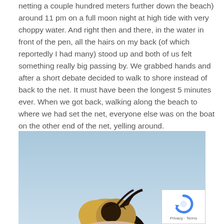netting a couple hundred meters further down the beach) around 11 pm on a full moon night at high tide with very choppy water. And right then and there, in the water in front of the pen, all the hairs on my back (of which reportedly I had many) stood up and both of us felt something really big passing by. We grabbed hands and after a short debate decided to walk to shore instead of back to the net. It must have been the longest 5 minutes ever. When we got back, walking along the beach to where we had set the net, everyone else was on the boat on the other end of the net, yelling around.
[Figure (photo): A photograph showing a person with blonde hair against a light blue sky background. A reCAPTCHA badge with Privacy and Terms links is visible in the bottom-right corner of the image.]